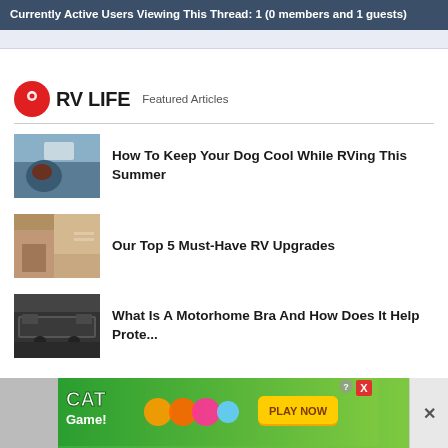Currently Active Users Viewing This Thread: 1 (0 members and 1 guests)
[Figure (logo): RV LIFE logo with red map pin icon and 'Featured Articles' label]
[Figure (photo): Photo of person near an RV with a dog]
How To Keep Your Dog Cool While RVing This Summer
[Figure (photo): Photo of interior of an RV with beds]
Our Top 5 Must-Have RV Upgrades
[Figure (photo): Photo of front of a motorhome/vehicle]
What Is A Motorhome Bra And How Does It Help Prote...
[Figure (screenshot): Cat Game advertisement banner with 'PLAY NOW' button]